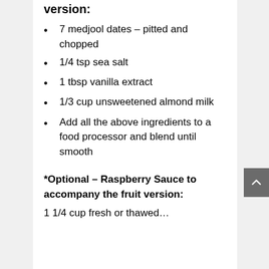version:
7 medjool dates – pitted and chopped
1/4 tsp sea salt
1 tbsp vanilla extract
1/3 cup unsweetened almond milk
Add all the above ingredients to a food processor and blend until smooth
*Optional – Raspberry Sauce to accompany the fruit version:
1 1/4 cup fresh or thawed…